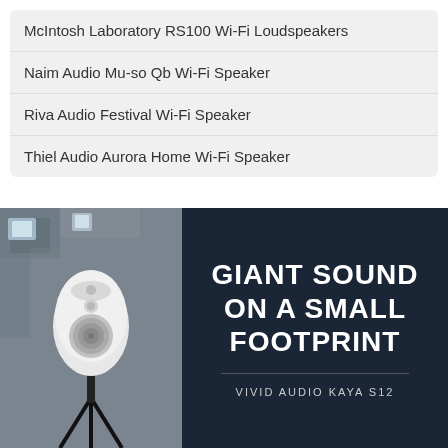McIntosh Laboratory RS100 Wi-Fi Loudspeakers
Naim Audio Mu-so Qb Wi-Fi Speaker
Riva Audio Festival Wi-Fi Speaker
Thiel Audio Aurora Home Wi-Fi Speaker
[Figure (photo): White compact loudspeaker on a stand against an industrial/rustic background, left half of bottom banner]
GIANT SOUND ON A SMALL FOOTPRINT
VIVID AUDIO KAYA S12